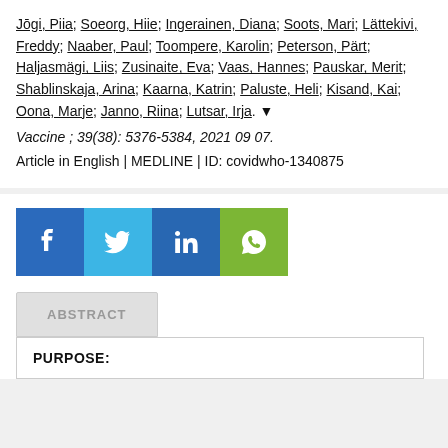Jōgi, Piia; Soeorg, Hiie; Ingerainen, Diana; Soots, Mari; Lättekivi, Freddy; Naaber, Paul; Toompere, Karolin; Peterson, Pärt; Haljasmägi, Liis; Zusinaite, Eva; Vaas, Hannes; Pauskar, Merit; Shablinskaja, Arina; Kaarna, Katrin; Paluste, Heli; Kisand, Kai; Oona, Marje; Janno, Riina; Lutsar, Irja.
Vaccine ; 39(38): 5376-5384, 2021 09 07.
Article in English | MEDLINE | ID: covidwho-1340875
[Figure (infographic): Social sharing buttons: Facebook (blue), Twitter (light blue), LinkedIn (dark blue), WhatsApp (green)]
ABSTRACT
PURPOSE: